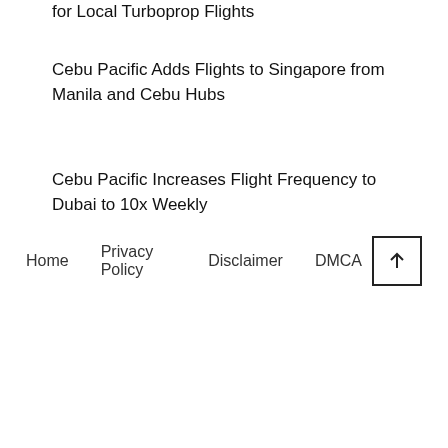for Local Turboprop Flights
Cebu Pacific Adds Flights to Singapore from Manila and Cebu Hubs
Cebu Pacific Increases Flight Frequency to Dubai to 10x Weekly
Home   Privacy Policy   Disclaimer   DMCA